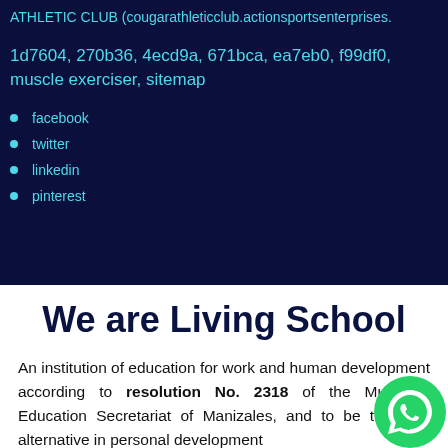ATHLETIC CLUB (cougarathleticclub.actionsportsenterprises.
1d7604, 270b36, 4ecd9a, 671bca, ea7eb0, f99df0, muscle exerciser, sitemap
facebook
twitter
linkedin
pinterest
We are Living School
An institution of education for work and human development according to resolution No. 2318 of the Municipal Education Secretariat of Manizales, and to be the best alternative in personal development